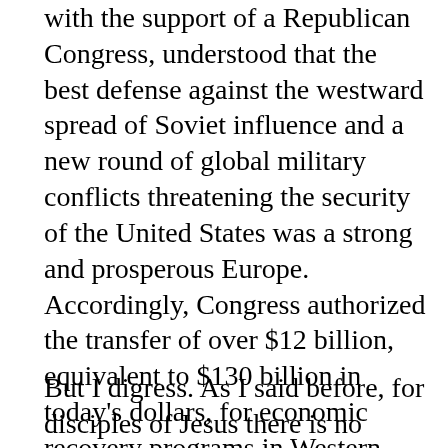with the support of a Republican Congress, understood that the best defense against the westward spread of Soviet influence and a new round of global military conflicts threatening the security of the United States was a strong and prosperous Europe. Accordingly, Congress authorized the transfer of over $12 billion, equivalent to $130 billion in today's dollars, for economic recovery programs in Western European economies. The result: increased economic and political cooperation between the nations of Western Europe, containment of the Soviet threat and no military hostilities for most of the century thereafter. Where there is political will and determination to solve global problems, history has shown us that significant progress can be made on a global scale.
But I digress. As I said before, for disciples of Jesus there is no debate over what we owe persons fleeing...